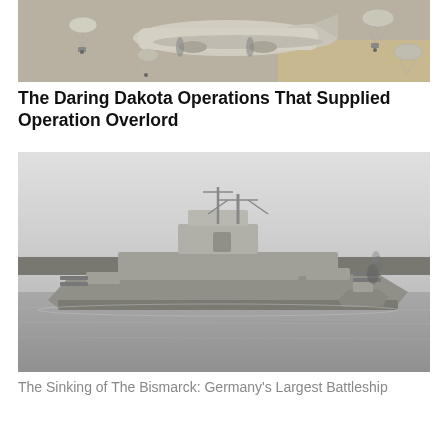[Figure (photo): Black and white photograph of a military transport aircraft (Douglas C-47 Dakota) dropping paratroopers and supplies via parachutes during World War II, Operation Overlord.]
The Daring Dakota Operations That Supplied Operation Overlord
[Figure (photo): Black and white photograph of the German battleship Bismarck sailing in calm waters, with a tugboat visible and smoke in the background.]
The Sinking of The Bismarck: Germany's Largest Battleship